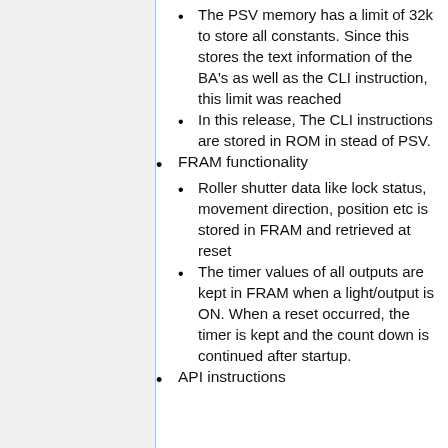The PSV memory has a limit of 32k to store all constants. Since this stores the text information of the BA's as well as the CLI instruction, this limit was reached
In this release, The CLI instructions are stored in ROM in stead of PSV.
FRAM functionality
Roller shutter data like lock status, movement direction, position etc is stored in FRAM and retrieved at reset
The timer values of all outputs are kept in FRAM when a light/output is ON. When a reset occurred, the timer is kept and the count down is continued after startup.
API instructions